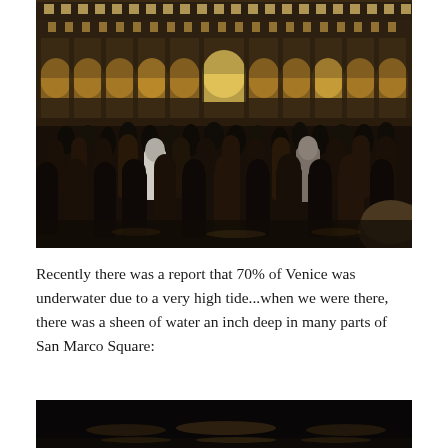[Figure (photo): Nighttime photo of St. Mark's Square (Piazza San Marco) in Venice, Italy. A large crowd of people stands on the illuminated piazza in front of the arcaded, brightly lit facade of the Procuratie buildings. The architecture features multiple arched windows and columns lit with warm golden light.]
Recently there was a report that 70% of Venice was underwater due to a very high tide...when we were there, there was a sheen of water an inch deep in many parts of San Marco Square:
[Figure (photo): Nighttime photo (partially visible, bottom of page) showing a dark scene in Venice, possibly San Marco Square at night, with reflections of lights on water.]